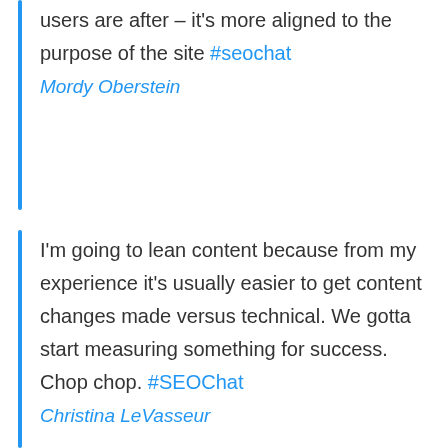users are after – it's more aligned to the purpose of the site #seochat
Mordy Oberstein
I'm going to lean content because from my experience it's usually easier to get content changes made versus technical. We gotta start measuring something for success. Chop chop. #SEOChat
Christina LeVasseur